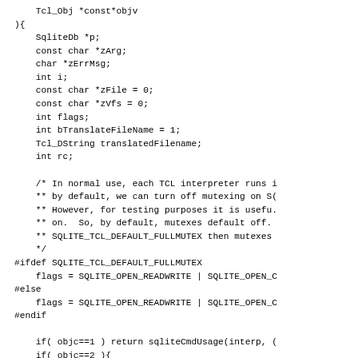Tcl_Obj *const*objv
){
    SqliteDb *p;
    const char *zArg;
    char *zErrMsg;
    int i;
    const char *zFile = 0;
    const char *zVfs = 0;
    int flags;
    int bTranslateFileName = 1;
    Tcl_DString translatedFilename;
    int rc;

    /* In normal use, each TCL interpreter runs i
    ** by default, we can turn off mutexing on S(
    ** However, for testing purposes it is usefu.
    ** on.  So, by default, mutexes default off.
    ** SQLITE_TCL_DEFAULT_FULLMUTEX then mutexes
    */
#ifdef SQLITE_TCL_DEFAULT_FULLMUTEX
    flags = SQLITE_OPEN_READWRITE | SQLITE_OPEN_C
#else
    flags = SQLITE_OPEN_READWRITE | SQLITE_OPEN_C
#endif

    if( objc==1 ) return sqliteCmdUsage(interp, (
    if( objc==2 ){
      zArg = Tcl_GetStringFromObj(objv[1], 0);